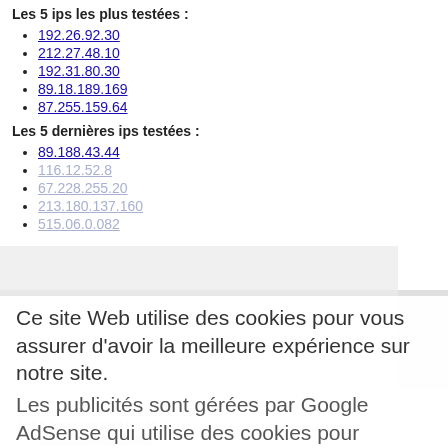Les 5 ips les plus testées :
192.26.92.30
212.27.48.10
192.31.80.30
89.18.189.169
87.255.159.64
Les 5 dernières ips testées :
89.188.43.44
116.12.52.8
67.228.255.20
213.180.137.160
515.06.0.082
Ce site Web utilise des cookies pour vous assurer d'avoir la meilleure expérience sur notre site.
Les publicités sont gérées par Google AdSense qui utilise des cookies pour collecter, partager et utiliser les données récupérées sur notre site. Détail
Ok
Choisir un nom d'hote dans une liste.
Les 5 hotes les plus testés :
dns213.c.register.com.
super.gandi.net.
proxy.dreamhost.com.
www.youtube.com.
www.xnxx.com.
Les 5 derniers hotes testés :
dns.francetelecom.net.
tretnotel.ultimatefreehost.in.
ns1.first.ps.de.